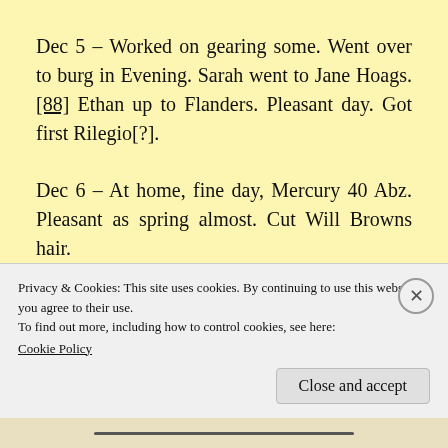Dec 5 – Worked on gearing some. Went over to burg in Evening. Sarah went to Jane Hoags.[88] Ethan up to Flanders. Pleasant day. Got first Rilegio[?].
Dec 6 – At home, fine day, Mercury 40 Abz. Pleasant as spring almost. Cut Will Browns hair.
Dec 7 – Worked in shop some. Went over to burg. Got pattern of Mary Mason. Sarah went
Privacy & Cookies: This site uses cookies. By continuing to use this website, you agree to their use.
To find out more, including how to control cookies, see here:
Cookie Policy
Close and accept